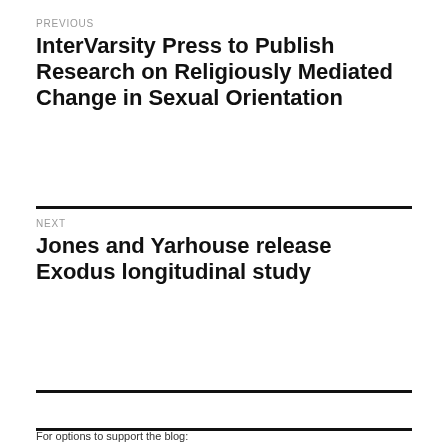PREVIOUS
InterVarsity Press to Publish Research on Religiously Mediated Change in Sexual Orientation
NEXT
Jones and Yarhouse release Exodus longitudinal study
For options to support the blog: